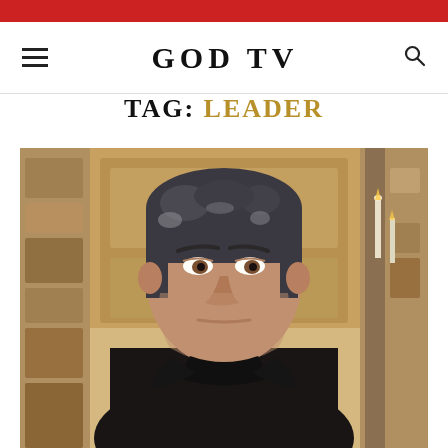GOD TV
TAG: LEADER
[Figure (photo): Close-up photo of a middle-aged man with dark grey hair wearing a dark jacket, seated in what appears to be a wood-paneled and stone interior setting.]